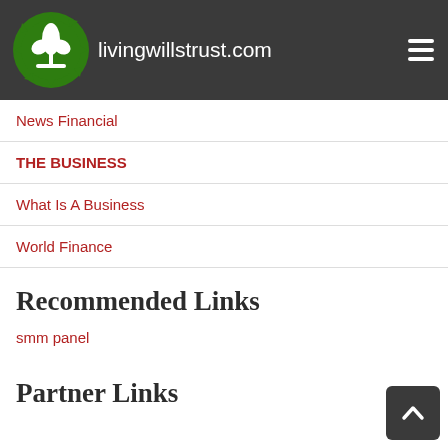livingwillstrust.com
News Financial
THE BUSINESS
What Is A Business
World Finance
Recommended Links
smm panel
Partner Links